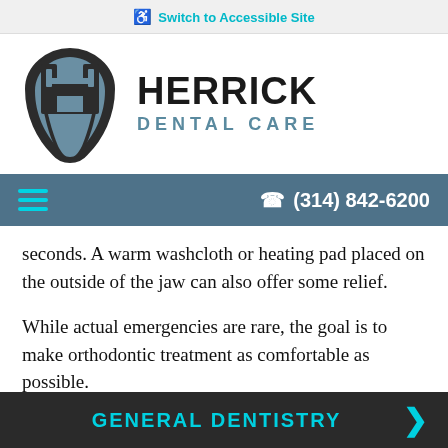Switch to Accessible Site
[Figure (logo): Herrick Dental Care logo with tooth icon and text HERRICK DENTAL CARE]
(314) 842-6200
seconds. A warm washcloth or heating pad placed on the outside of the jaw can also offer some relief.
While actual emergencies are rare, the goal is to make orthodontic treatment as comfortable as possible.
GENERAL DENTISTRY